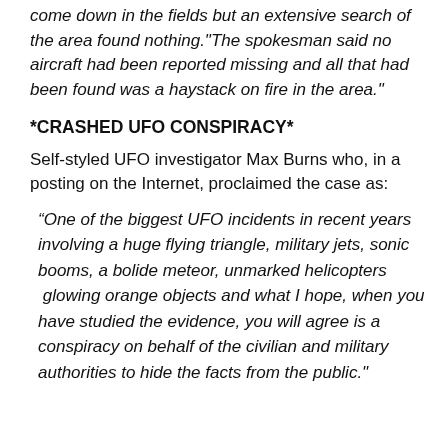come down in the fields but an extensive search of the area found nothing."The spokesman said no aircraft had been reported missing and all that had been found was a haystack on fire in the area."
*CRASHED UFO CONSPIRACY*
Self-styled UFO investigator Max Burns who, in a posting on the Internet, proclaimed the case as:
“One of the biggest UFO incidents in recent years involving a huge flying triangle, military jets, sonic booms, a bolide meteor, unmarked helicopters  glowing orange objects and what I hope, when you have studied the evidence, you will agree is a conspiracy on behalf of the civilian and military authorities to hide the facts from the public."